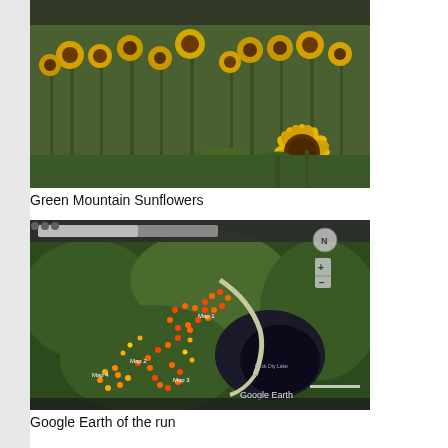[Figure (photo): A field of sunflowers in full bloom, viewed from ground level. Yellow sunflower heads visible throughout with green stems and leaves. A large yellow sunflower is prominent in the foreground right.]
Green Mountain Sunflowers
[Figure (map): Google Earth satellite aerial view showing a running route marked with orange/red dots forming loops through forested terrain near a dark lake (Duck Oty Lake). Route segments labeled Map 1 through Map 4. Google Earth watermark in lower right corner.]
Google Earth of the run